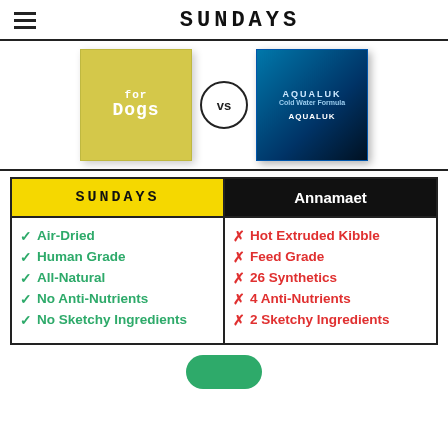SUNDAYS
[Figure (illustration): Product comparison image: Sundays for Dogs box on left vs Annamaet Cold Water Formula bag on right, separated by a VS circle]
| SUNDAYS | Annamaet |
| --- | --- |
| ✓ Air-Dried
✓ Human Grade
✓ All-Natural
✓ No Anti-Nutrients
✓ No Sketchy Ingredients | ✗ Hot Extruded Kibble
✗ Feed Grade
✗ 26 Synthetics
✗ 4 Anti-Nutrients
✗ 2 Sketchy Ingredients |